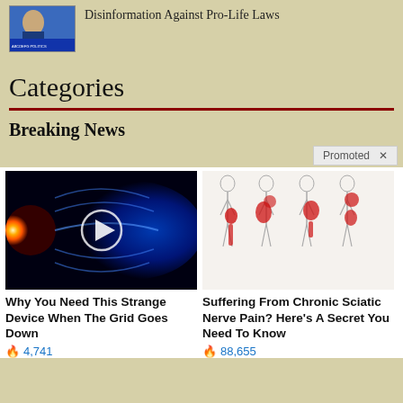[Figure (screenshot): Thumbnail of a news anchor on TV with blue lower-third chyron bar]
Disinformation Against Pro-Life Laws
Categories
Breaking News
Promoted X
[Figure (photo): Space/solar flare image with play button overlay - advertisement for survival device]
Why You Need This Strange Device When The Grid Goes Down
🔥 4,741
[Figure (illustration): Medical illustration of human body figures showing sciatic nerve pain areas highlighted in red]
Suffering From Chronic Sciatic Nerve Pain? Here's A Secret You Need To Know
🔥 88,655